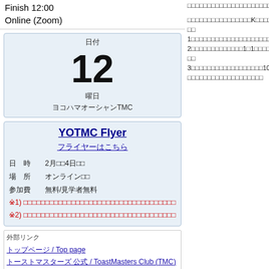Finish 12:00
Online (Zoom)
| 日付 | 12 | 曜日 | ヨコハマオーシャンTMC |
YOTMC Flyer
フライヤーはこちら
日　時　　2月□□4日□□
場　所　　オンライン□□
参加費　　無料/見学者無料
※1) □□□□□□□□□□□□□□□□□□□□□□□□
※2) □□□□□□□□□□□□□□□□□□□□□□□□
外部リンク
トップページ / Top page
トーストマスターズ 公式 / ToastMasters Club (TMC)
横浜オーシャンTMC / Yokohama Ocean TMC
例会について / About Regular meetings
例会記録 / Meeting Record
□□□□□□□□□□□□□□□□□□□□□1□□□□□□□□□□□□□□□□□□□□□□□□□□G□□□□□□□□□□□□□□□□□□□□□□□□□□□□
□□□□□□□□□□□□□□□□K□□□□□□□□□□□□□□□□□□4□□□□□□□□□□□□□□
1□□□□□□□□□□□□□□□□□□□□□□□□□□□□□□□E□□□□□□□□□□□□□□□□□□□
2□□□□□□□□□□□□□1□1□□□□□□□□□□□□□□□□□□□I□□□□□□□□□□□□□□
3□□□□□□□□□□□□□□□□□□10□□□□□□□□□□□□□□□□□□□□□□□□□□□